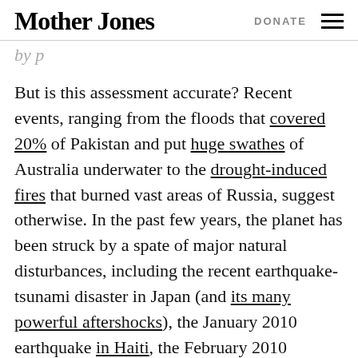Mother Jones | DONATE
by p…
But is this assessment accurate? Recent events, ranging from the floods that covered 20% of Pakistan and put huge swathes of Australia underwater to the drought-induced fires that burned vast areas of Russia, suggest otherwise. In the past few years, the planet has been struck by a spate of major natural disturbances, including the recent earthquake-tsunami disaster in Japan (and its many powerful aftershocks), the January 2010 earthquake in Haiti, the February 2010 earthquake in Chile, the February 2011 earthquake in Christchurch, New Zealand, the March 2011 earthquake in…